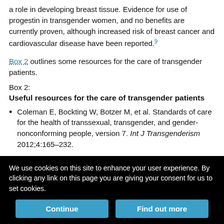a role in developing breast tissue. Evidence for use of progestin in transgender women, and no benefits are currently proven, although increased risk of breast cancer and cardiovascular disease have been reported.⁹
Box 2 outlines some resources for the care of transgender patients.
Box 2:
Useful resources for the care of transgender patients
Coleman E, Bockting W, Botzer M, et al. Standards of care for the health of transsexual, transgender, and gender-nonconforming people, version 7. Int J Transgenderism 2012;4:165–232.
Hembree WC, Cohen-Kettinis P, Delemarre-van de Waal, et al.
We use cookies on this site to enhance your user experience. By clicking any link on this page you are giving your consent for us to set cookies.